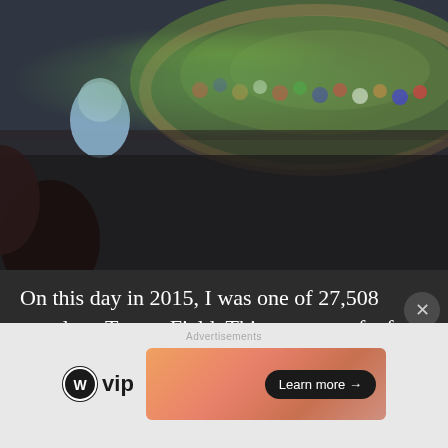[Figure (photo): Stadium photo showing crowd at Turner Field baseball game, aerial view of field visible in upper right, spectators in seats filling the frame]
On this day in 2015, I was one of 27,508 people at Turner Field. This was one of a few games I took in at this beautiful stadium in 2015. This stadium had such a different feeling. It might've been the stage of my life I was in at the tine, or the atmosphere of
Continue reading →
[Figure (logo): WordPress VIP logo and advertisement banner with Learn more button]